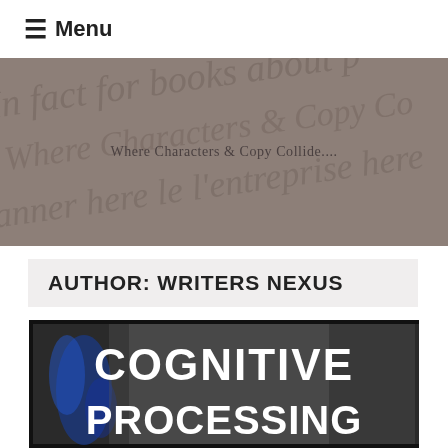☰ Menu
Where Characters & Copy Collide....
AUTHOR: WRITERS NEXUS
[Figure (illustration): Book cover with dark textured background and blue streaks, white bold text reading COGNITIVE PROCESSING]